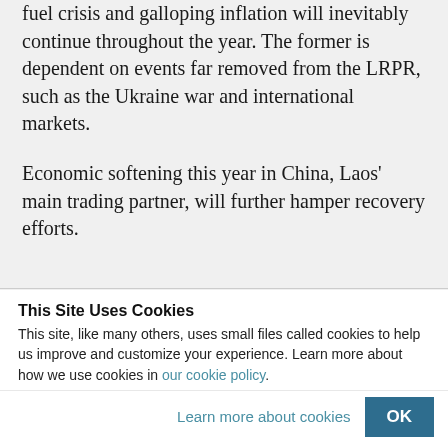fuel crisis and galloping inflation will inevitably continue throughout the year. The former is dependent on events far removed from the LRPR, such as the Ukraine war and international markets.
Economic softening this year in China, Laos' main trading partner, will further hamper recovery efforts.
This Site Uses Cookies
This site, like many others, uses small files called cookies to help us improve and customize your experience. Learn more about how we use cookies in our cookie policy.
Learn more about cookies   OK